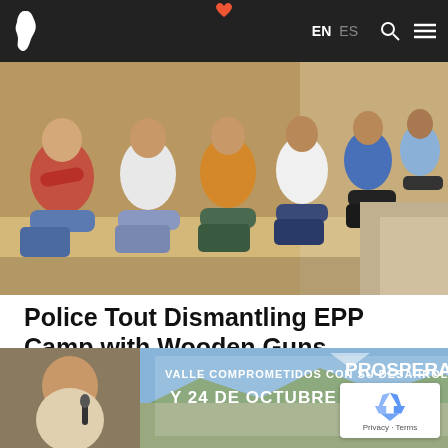EN  ES
[Figure (photo): A group of young men seated on the ground against a wall, some in casual clothing including red and yellow shirts.]
Police Tout Dismantling EPP Camp with Wooden Guns
EPP / 21 JAN 2011
Authorities in Paraguay announced they had arrested 14 youths at a "training" camp for the leftist rebel group the...
[Figure (photo): Bottom partial image showing a man speaking and a banner reading VALLE COMPROMETIDOS CON SU DESARROLLO Y 24 DE OCTUBRE PROSPERA]